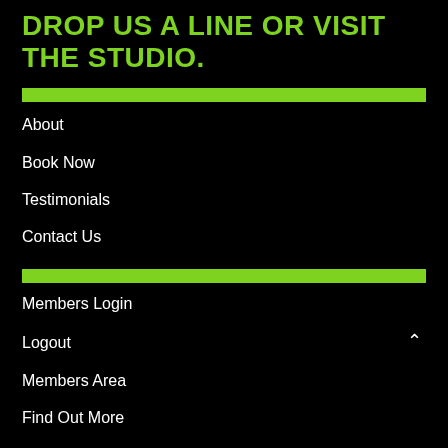DROP US A LINE OR VISIT THE STUDIO.
About
Book Now
Testimonials
Contact Us
Members Login
Logout
Members Area
Find Out More
paul2wallace@live.com